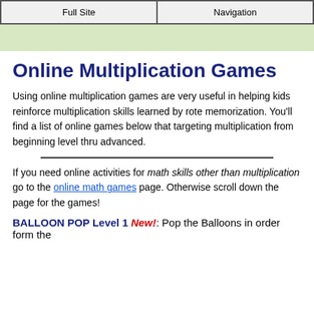Full Site | Navigation
Online Multiplication Games
Using online multiplication games are very useful in helping kids reinforce multiplication skills learned by rote memorization. You'll find a list of online games below that targeting multiplication from beginning level thru advanced.
If you need online activities for math skills other than multiplication go to the online math games page. Otherwise scroll down the page for the games!
BALLOON POP Level 1 New!: Pop the Balloons in order form the